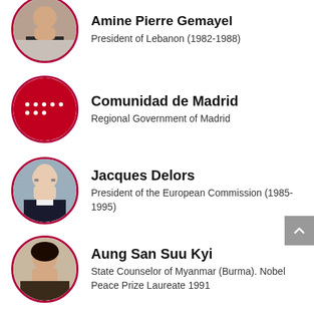Amine Pierre Gemayel — President of Lebanon (1982-1988)
Comunidad de Madrid — Regional Government of Madrid
Jacques Delors — President of the European Commission (1985-1995)
Aung San Suu Kyi — State Counselor of Myanmar (Burma). Nobel Peace Prize Laureate 1991
Ferenc Mádl — President of Hungary (2000-2005)